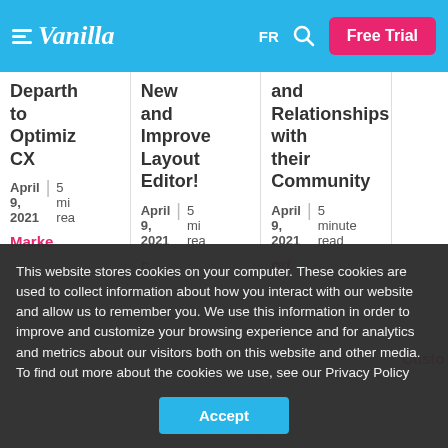Vanilla | FR | Free Trial
Departh to Optimize CX | April 9, 2021 | 5 min read | Marke
New and Improve and Layout Editor! | April 9, 2021 | 5 min read
and Relationships with their Community | April 9, 2021 | 5 minute read | port
Custo
This website stores cookies on your computer. These cookies are used to collect information about how you interact with our website and allow us to remember you. We use this information in order to improve and customize your browsing experience and for analytics and metrics about our visitors both on this website and other media. To find out more about the cookies we use, see our Privacy Policy
Accept